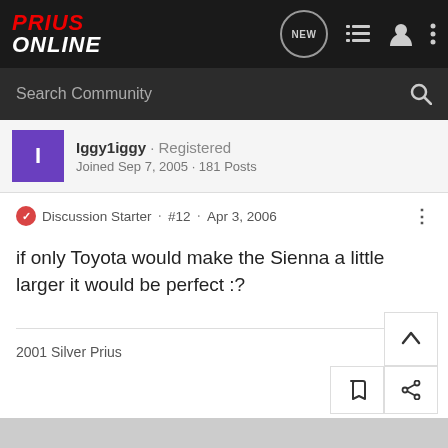Prius Online
Search Community
Iggy1iggy · Registered
Joined Sep 7, 2005 · 181 Posts
Discussion Starter · #12 · Apr 3, 2006
if only Toyota would make the Sienna a little larger it would be perfect :?
2001 Silver Prius